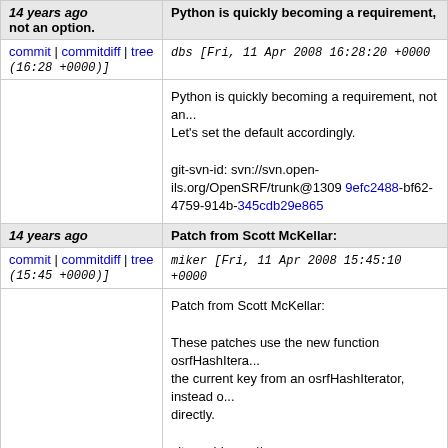14 years ago
not an option.
Python is quickly becoming a requirement,
commit | commitdiff | tree
dbs [Fri, 11 Apr 2008 16:28:20 +0000 (16:28 +0000)]
Python is quickly becoming a requirement, not an...
Let's set the default accordingly.

git-svn-id: svn://svn.open-ils.org/OpenSRF/trunk@1309 9efc2488-bf62-4759-914b-345cdb29e865
14 years ago
Patch from Scott McKellar:
commit | commitdiff | tree
miker [Fri, 11 Apr 2008 15:45:10 +0000 (15:45 +0000)]
Patch from Scott McKellar:

These patches use the new function osrfHashItera...
the current key from an osrfHashIterator, instead o...
directly.

git-svn-id: svn://svn.open-ils.org/OpenSRF/trunk@1308 9efc2488-bf62-4759-914b-345cdb29e865
14 years ago
Patch from Scott McKellar: